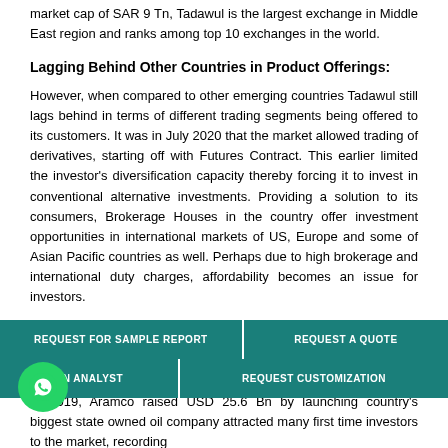market cap of SAR 9 Tn, Tadawul is the largest exchange in Middle East region and ranks among top 10 exchanges in the world.
Lagging Behind Other Countries in Product Offerings:
However, when compared to other emerging countries Tadawul still lags behind in terms of different trading segments being offered to its customers. It was in July 2020 that the market allowed trading of derivatives, starting off with Futures Contract. This earlier limited the investor's diversification capacity thereby forcing it to invest in conventional alternative investments. Providing a solution to its consumers, Brokerage Houses in the country offer investment opportunities in international markets of US, Europe and some of Asian Pacific countries as well. Perhaps due to high brokerage and international duty charges, affordability becomes an issue for investors.
[Figure (other): CTA button overlay with teal buttons: REQUEST FOR SAMPLE REPORT, REQUEST A QUOTE, AN ANALYST, REQUEST CUSTOMIZATION. WhatsApp circle icon on left.]
In 2019, Aramco raised USD 25.6 Bn by launching country's biggest state owned oil company attracted many first time investors to the market, recording